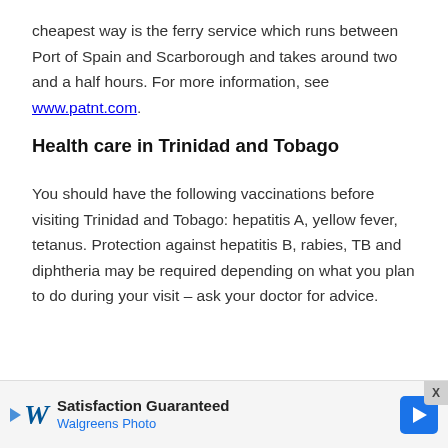cheapest way is the ferry service which runs between Port of Spain and Scarborough and takes around two and a half hours. For more information, see www.patnt.com.
Health care in Trinidad and Tobago
You should have the following vaccinations before visiting Trinidad and Tobago: hepatitis A, yellow fever, tetanus. Protection against hepatitis B, rabies, TB and diphtheria may be required depending on what you plan to do during your visit – ask your doctor for advice.
[Figure (infographic): Walgreens Photo advertisement banner with logo, 'Satisfaction Guaranteed' text and blue diamond arrow icon. Close button (X) in top right.]